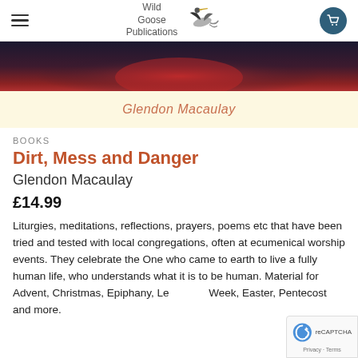Wild Goose Publications
[Figure (photo): Book cover image strip showing a dark red/maroon decorative design]
Glendon Macaulay
BOOKS
Dirt, Mess and Danger
Glendon Macaulay
£14.99
Liturgies, meditations, reflections, prayers, poems etc that have been tried and tested with local congregations, often at ecumenical worship events. They celebrate the One who came to earth to live a fully human life, who understands what it is to be human. Material for Advent, Christmas, Epiphany, Lent, Holy Week, Easter, Pentecost and more.